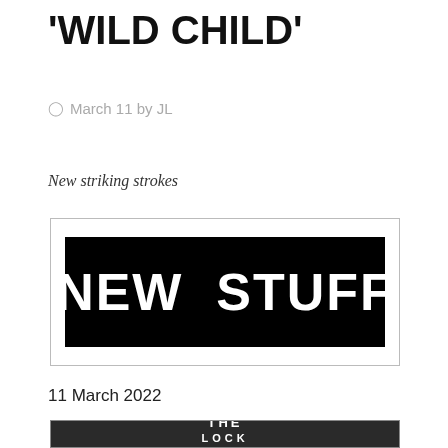'WILD CHILD'
March 11 by JL
New striking strokes
[Figure (illustration): Black rectangle with large bold white uppercase text reading 'NEW STUFF', enclosed in a thin grey border box on white background.]
11 March 2022
[Figure (photo): Dark/black background image with white bold text partially visible reading 'THE' and below it partially cut off 'LOCK' or similar text.]